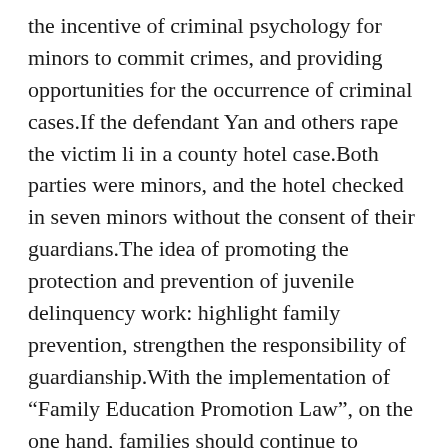the incentive of criminal psychology for minors to commit crimes, and providing opportunities for the occurrence of criminal cases.If the defendant Yan and others rape the victim li in a county hotel case.Both parties were minors, and the hotel checked in seven minors without the consent of their guardians.The idea of promoting the protection and prevention of juvenile delinquency work: highlight family prevention, strengthen the responsibility of guardianship.With the implementation of “Family Education Promotion Law”, on the one hand, families should continue to strengthen their inherent family education function, and carry out necessary guardianship and guidance to minors;On the other hand, guardians should pay more attention to the cultivation of the concept of the rule of law, strengthen the construction of their own awareness of the rule of law, legal and reasonable guardianship, timely teach the correct concept of the rule of law to minors, and